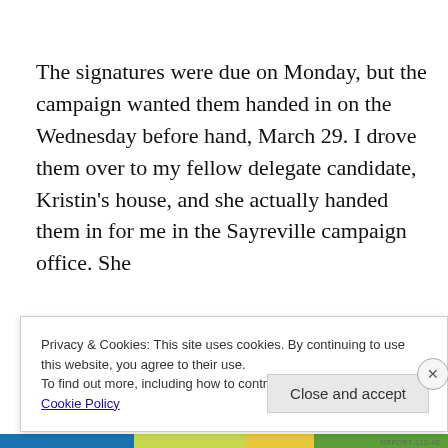The signatures were due on Monday, but the campaign wanted them handed in on the Wednesday before hand, March 29. I drove them over to my fellow delegate candidate, Kristin's house, and she actually handed them in for me in the Sayreville campaign office. She
Privacy & Cookies: This site uses cookies. By continuing to use this website, you agree to their use.
To find out more, including how to control cookies, see here:
Cookie Policy